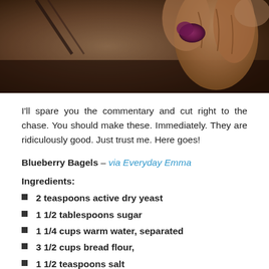[Figure (photo): Close-up photo of hands holding blueberries, dark background with berry stains visible]
I'll spare you the commentary and cut right to the chase. You should make these. Immediately. They are ridiculously good. Just trust me. Here goes!
Blueberry Bagels – via Everyday Emma
Ingredients:
2 teaspoons active dry yeast
1 1/2 tablespoons sugar
1 1/4 cups warm water, separated
3 1/2 cups bread flour,
1 1/2 teaspoons salt
1 cup fresh blueberries